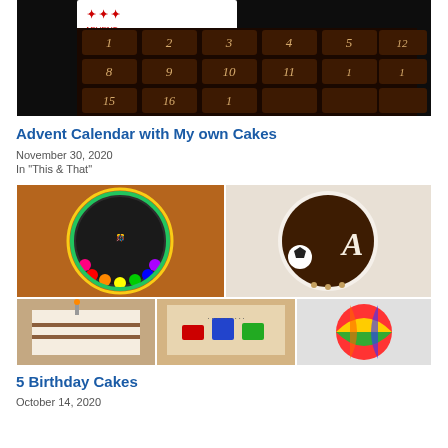[Figure (photo): Chocolate advent calendar with numbered chocolates (1-16 visible) arranged in a grid, dark background, some with red star decorations]
Advent Calendar with My own Cakes
November 30, 2020
In "This & That"
[Figure (photo): Collage of 5 birthday cakes: a colorful sprinkle cake with M&Ms, a sports-themed chocolate cake with letter A and soccer ball, a layered chocolate cake with candle, a lego-themed cake, and a colorful ball cake]
5 Birthday Cakes